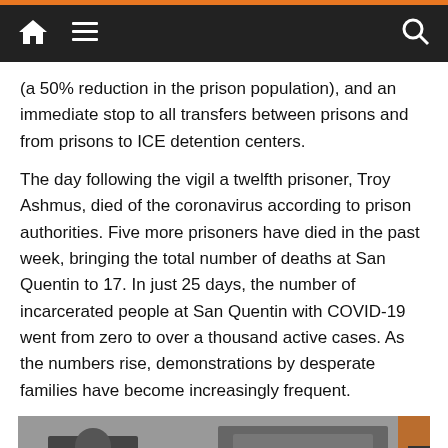Navigation bar with home, menu, and search icons
(a 50% reduction in the prison population), and an immediate stop to all transfers between prisons and from prisons to ICE detention centers.
The day following the vigil a twelfth prisoner, Troy Ashmus, died of the coronavirus according to prison authorities. Five more prisoners have died in the past week, bringing the total number of deaths at San Quentin to 17. In just 25 days, the number of incarcerated people at San Quentin with COVID-19 went from zero to over a thousand active cases. As the numbers rise, demonstrations by desperate families have become increasingly frequent.
[Figure (photo): Black and white photograph showing a person holding a sign and a California State Prison sign in the background, taken at a demonstration outside San Quentin prison.]